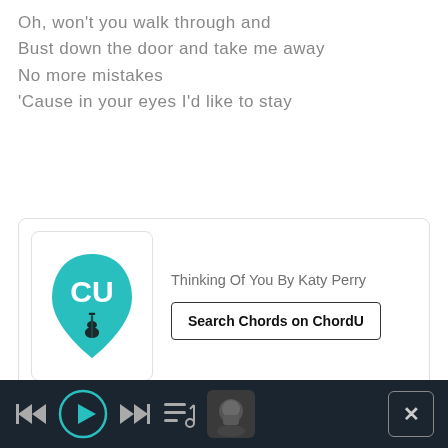Oh, won't you walk through and
Bust down the door and take me away
No more mistakes
'Cause in your eyes I'd like to stay
[Figure (screenshot): ChordU app card with teal guitar pick logo, title 'Thinking Of You By Katy Perry', and 'Search Chords on ChordU' button]
[Figure (screenshot): Music player bar with rewind, play, fast-forward, queue, and album art buttons, plus close (X) button on right]